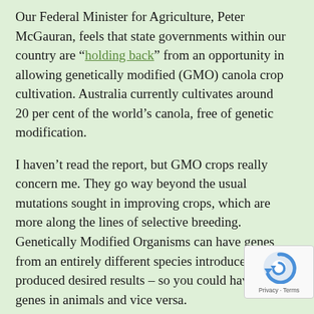Our Federal Minister for Agriculture, Peter McGauran, feels that state governments within our country are "holding back" from an opportunity in allowing genetically modified (GMO) canola crop cultivation. Australia currently cultivates around 20 per cent of the world's canola, free of genetic modification.
I haven't read the report, but GMO crops really concern me. They go way beyond the usual mutations sought in improving crops, which are more along the lines of selective breeding. Genetically Modified Organisms can have genes from an entirely different species introduced to produced desired results – so you could have plant genes in animals and vice versa.
Australia isn't the only country resistant to GMO c… Japan says that they'll first watch a generation of American kids grow up consuming all that GMO
[Figure (other): reCAPTCHA privacy badge with circular arrow icon and 'Privacy · Terms' text]